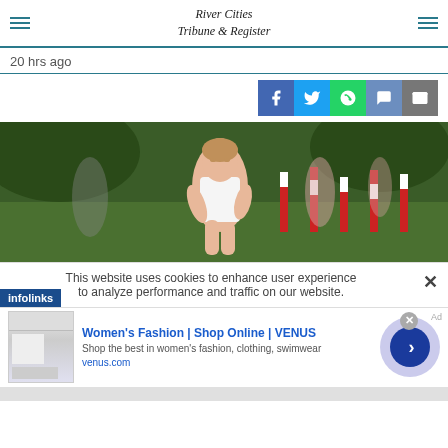River Cities Tribune & Register
20 hrs ago
[Figure (photo): Young female cross country runner in white tank top racing on grass course with red and white flags]
This website uses cookies to enhance user experience to analyze performance and traffic on our website.
Women's Fashion | Shop Online | VENUS
Shop the best in women's fashion, clothing, swimwear
venus.com